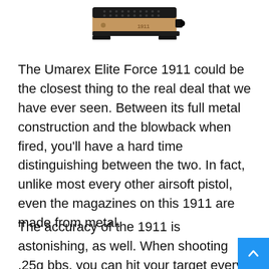[Figure (photo): Partial top view of a Umarex Elite Force 1911 airsoft pistol in tan/bronze and black color, showing the top slide portion of the gun.]
The Umarex Elite Force 1911 could be the closest thing to the real deal that we have ever seen. Between its full metal construction and the blowback when fired, you'll have a hard time distinguishing between the two. In fact, unlike most every other airsoft pistol, even the magazines on this 1911 are made from metal.
The accuracy of the 1911 is astonishing, as well. When shooting .25g bbs, you can hit your target every time at 20-25 feet. Also, the bb